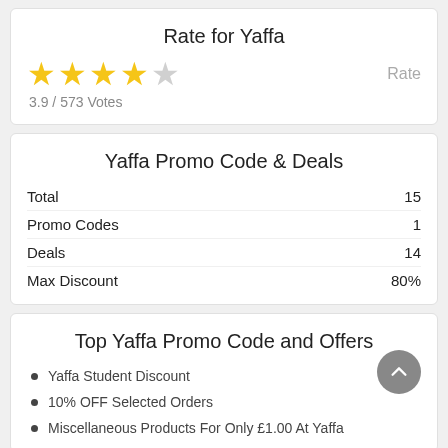Rate for Yaffa
[Figure (other): Star rating: 4 filled stars and 1 empty star]
3.9 / 573 Votes
Yaffa Promo Code & Deals
| Total | 15 |
| Promo Codes | 1 |
| Deals | 14 |
| Max Discount | 80% |
Top Yaffa Promo Code and Offers
Yaffa Student Discount
10% OFF Selected Orders
Miscellaneous Products For Only £1.00 At Yaffa